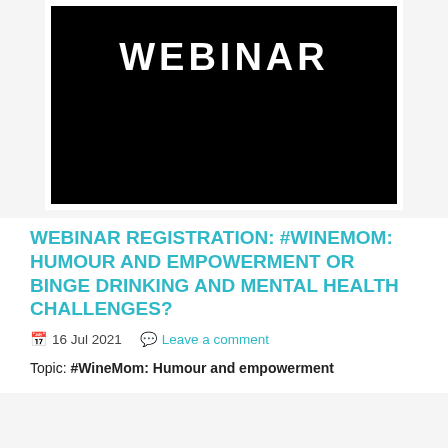[Figure (illustration): Black rectangle with white border containing the text 'WEBINAR' in large bold white capital letters at the top]
WEBINAR REGISTRATION: #WINEMOM: HUMOUR AND EMPOWERMENT OR BINGE DRINKING AND MENTAL HEALTH CHALLENGES?
16 Jul 2021   Leave a comment
Topic: #WineMom: Humour and empowerment